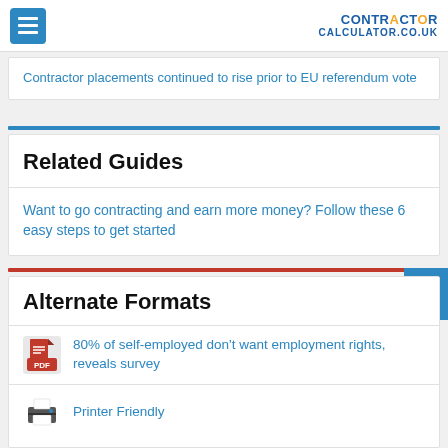CONTRACTOR CALCULATOR.CO.UK
Contractor placements continued to rise prior to EU referendum vote
Related Guides
Want to go contracting and earn more money? Follow these 6 easy steps to get started
Alternate Formats
80% of self-employed don't want employment rights, reveals survey
Printer Friendly